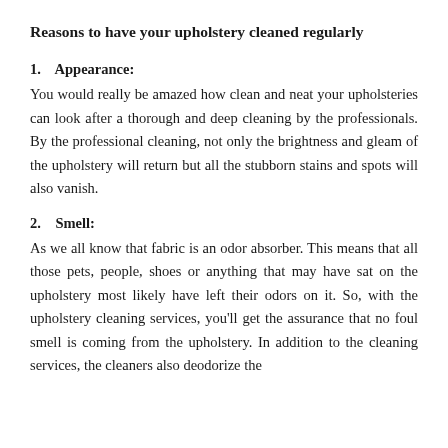Reasons to have your upholstery cleaned regularly
1.    Appearance:
You would really be amazed how clean and neat your upholsteries can look after a thorough and deep cleaning by the professionals. By the professional cleaning, not only the brightness and gleam of the upholstery will return but all the stubborn stains and spots will also vanish.
2.    Smell:
As we all know that fabric is an odor absorber. This means that all those pets, people, shoes or anything that may have sat on the upholstery most likely have left their odors on it. So, with the upholstery cleaning services, you'll get the assurance that no foul smell is coming from the upholstery. In addition to the cleaning services, the cleaners also deodorize the